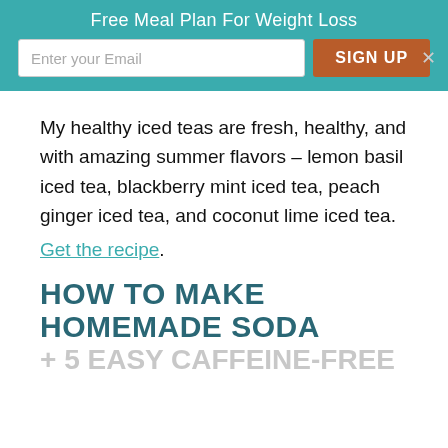Free Meal Plan For Weight Loss
My healthy iced teas are fresh, healthy, and with amazing summer flavors – lemon basil iced tea, blackberry mint iced tea, peach ginger iced tea, and coconut lime iced tea.
Get the recipe.
HOW TO MAKE HOMEMADE SODA
+ 5 EASY CAFFEINE-FREE